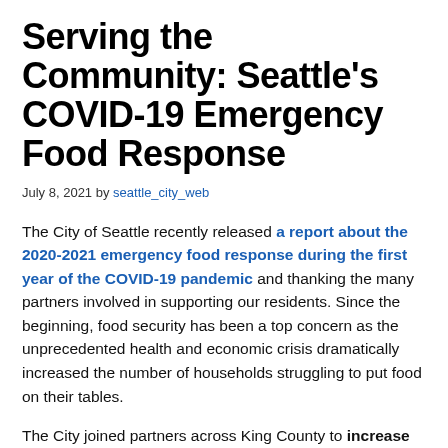Serving the Community: Seattle's COVID-19 Emergency Food Response
July 8, 2021 by seattle_city_web
The City of Seattle recently released a report about the 2020-2021 emergency food response during the first year of the COVID-19 pandemic and thanking the many partners involved in supporting our residents. Since the beginning, food security has been a top concern as the unprecedented health and economic crisis dramatically increased the number of households struggling to put food on their tables.
The City joined partners across King County to increase investments and pivot the work of some employees to focus on increasing food-related services. Of particular concern were residents disproportionately impacted by the pandemic and economic downturn, including older adults, low-income